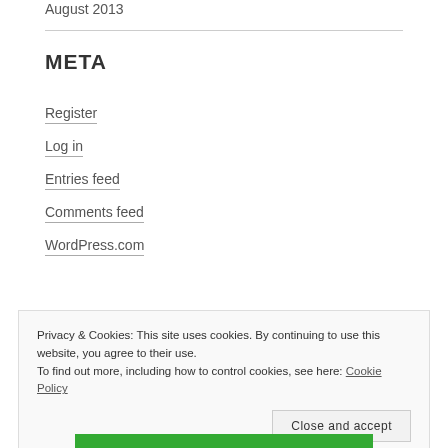August 2013
META
Register
Log in
Entries feed
Comments feed
WordPress.com
Privacy & Cookies: This site uses cookies. By continuing to use this website, you agree to their use.
To find out more, including how to control cookies, see here: Cookie Policy
Close and accept